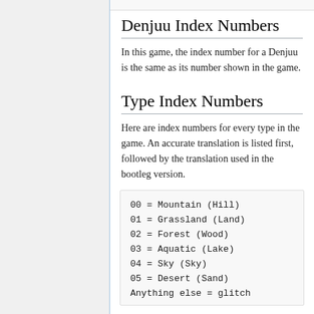Denjuu Index Numbers
In this game, the index number for a Denjuu is the same as its number shown in the game.
Type Index Numbers
Here are index numbers for every type in the game. An accurate translation is listed first, followed by the translation used in the bootleg version.
00 = Mountain (Hill)
01 = Grassland (Land)
02 = Forest (Wood)
03 = Aquatic (Lake)
04 = Sky (Sky)
05 = Desert (Sand)
Anything else = glitch